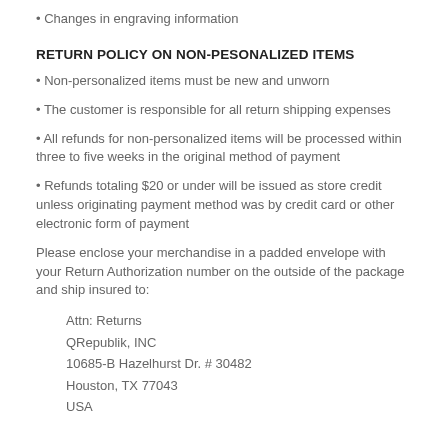• Changes in engraving information
RETURN POLICY ON NON-PESONALIZED ITEMS
• Non-personalized items must be new and unworn
• The customer is responsible for all return shipping expenses
• All refunds for non-personalized items will be processed within three to five weeks in the original method of payment
• Refunds totaling $20 or under will be issued as store credit unless originating payment method was by credit card or other electronic form of payment
Please enclose your merchandise in a padded envelope with your Return Authorization number on the outside of the package and ship insured to:
Attn: Returns
QRepublik, INC
10685-B Hazelhurst Dr. # 30482
Houston, TX 77043
USA
PLEASE TAKE NOTE THAT THE FOLLOWING PERSONALIZED, NON-REUSABLE ITEMS MAY NOT BE RETURNED OR ISSUED A REFUND: